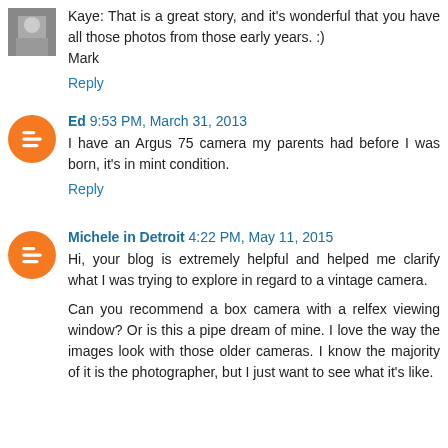[Figure (photo): Small avatar photo of a person (Mark)]
Kaye: That is a great story, and it's wonderful that you have all those photos from those early years. :)
Mark
Reply
[Figure (logo): Blogger orange circle avatar icon for Ed]
Ed 9:53 PM, March 31, 2013
I have an Argus 75 camera my parents had before I was born, it's in mint condition.
Reply
[Figure (logo): Blogger orange circle avatar icon for Michele in Detroit]
Michele in Detroit 4:22 PM, May 11, 2015
Hi, your blog is extremely helpful and helped me clarify what I was trying to explore in regard to a vintage camera.
Can you recommend a box camera with a relfex viewing window? Or is this a pipe dream of mine. I love the way the images look with those older cameras. I know the majority of it is the photographer, but I just want to see what it's like.